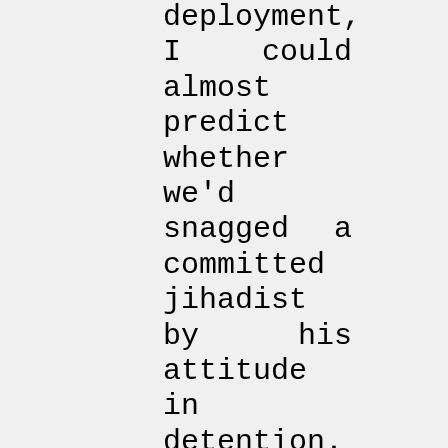deployment, I could almost predict whether we'd snagged a committed jihadist by his attitude in detention. Al-Qaeda leaders would often laugh, act like they were on vacation, and sometimes attempt to engage their captors in casual conversation. Ill...